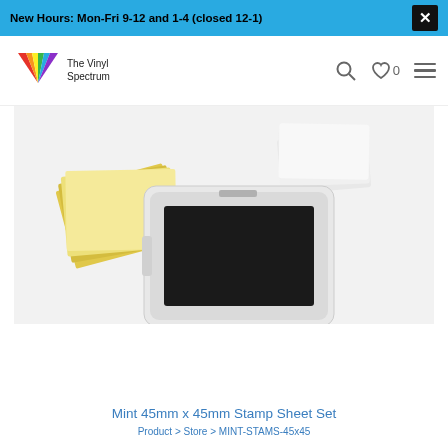New Hours: Mon-Fri 9-12 and 1-4 (closed 12-1)
[Figure (logo): The Vinyl Spectrum logo with colorful triangles and text]
[Figure (photo): Product photo of Mint 45mm x 45mm Stamp Sheet Set showing yellow adhesive sheets and a white stamp tray with black stamp sheet]
Mint 45mm x 45mm Stamp Sheet Set
Product > Store > MINT-STAMS-45x45